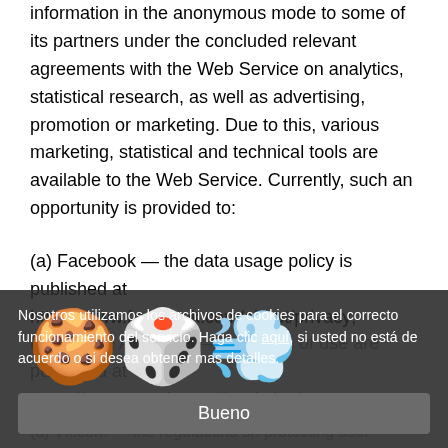information in the anonymous mode to some of its partners under the concluded relevant agreements with the Web Service on analytics, statistical research, as well as advertising, promotion or marketing. Due to this, various marketing, statistical and technical tools are available to the Web Service. Currently, such an opportunity is provided to:
(a) Facebook — the data usage policy is published at https://www.facebook.com/about/privacy;
(b) Google Analytics — the terms of use are published at https://www.google.com/analytics/terms;
Nosotros utilizamos los archivos de cookies para el correcto funcionamiento del servicio. Haga clic aquí, si usted no está de acuerdo o si desea obtener mas detalles.
(c) Yandex — the terms of use are published at https://yandex.ru/legal/metrica_termsofuse;
Bueno
(d) Vk.com — the regulations on protecting user information are published at https://vk.com/privacy;